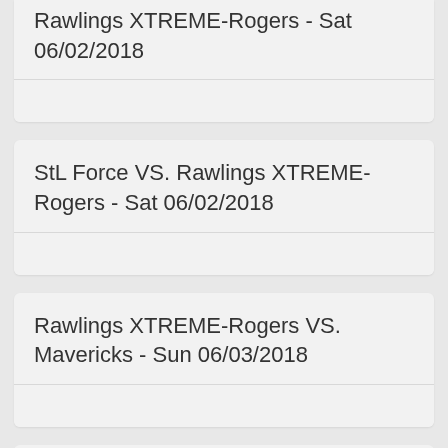Rawlings XTREME-Rogers - Sat 06/02/2018
StL Force VS. Rawlings XTREME-Rogers - Sat 06/02/2018
Rawlings XTREME-Rogers VS. Mavericks - Sun 06/03/2018